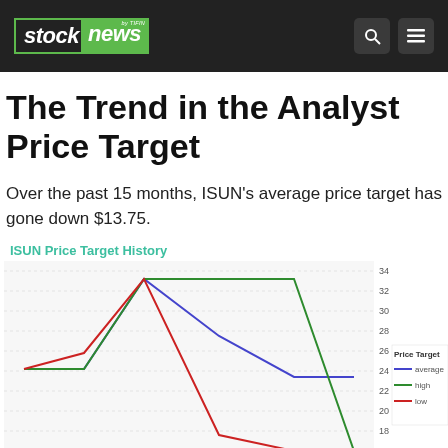stock news by TIFIN
The Trend in the Analyst Price Target
Over the past 15 months, ISUN's average price target has gone down $13.75.
[Figure (line-chart): ISUN Price Target History]